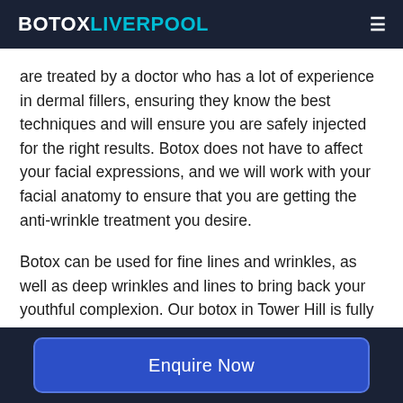BOTOXLIVERPOOL
are treated by a doctor who has a lot of experience in dermal fillers, ensuring they know the best techniques and will ensure you are safely injected for the right results. Botox does not have to affect your facial expressions, and we will work with your facial anatomy to ensure that you are getting the anti-wrinkle treatment you desire.
Botox can be used for fine lines and wrinkles, as well as deep wrinkles and lines to bring back your youthful complexion. Our botox in Tower Hill is fully insured and the staff are highly
Enquire Now